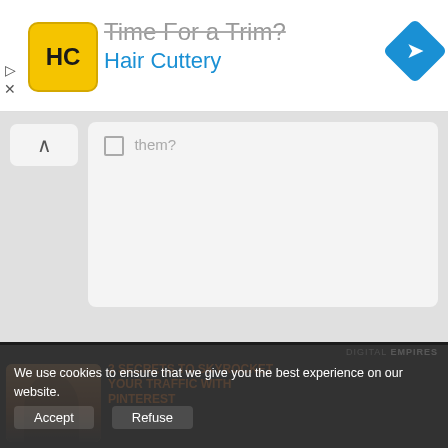[Figure (screenshot): Ad banner for Hair Cuttery with yellow logo, 'Time For a Trim?' text crossed out, 'Hair Cuttery' in blue, blue diamond navigation icon, and ad control arrows/X]
them?
FREE PINTEREST MASTERCLASS
[Figure (screenshot): Digital Empires promo panel with dark background showing a woman in a video thumbnail and text '3 SECRETS TO SKYROCKET YOUR TRAFFIC WITH PINTEREST' in orange/white]
We use cookies to ensure that we give you the best experience on our website.
Accept    Refuse